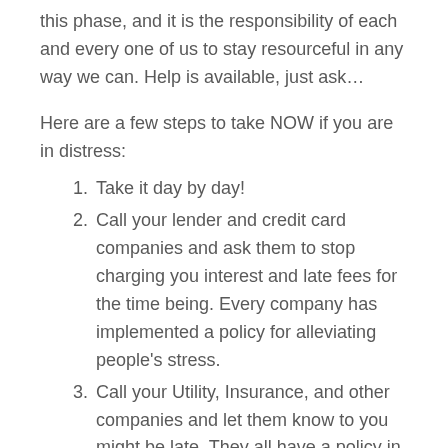this phase, and it is the responsibility of each and every one of us to stay resourceful in any way we can. Help is available, just ask…
Here are a few steps to take NOW if you are in distress:
Take it day by day!
Call your lender and credit card companies and ask them to stop charging you interest and late fees for the time being. Every company has implemented a policy for alleviating people's stress.
Call your Utility, Insurance, and other companies and let them know to you might be late. They all have a policy in place to help for